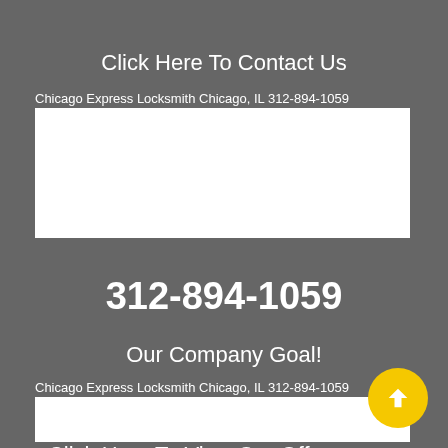Click Here To Contact Us
[Figure (other): Broken image placeholder: Chicago Express Locksmith Chicago, IL 312-894-1059 with white content box below]
312-894-1059
Our Company Goal!
[Figure (other): Broken image placeholder: Chicago Express Locksmith Chicago, IL 312-894-1059 with white content box below]
Click Here To View Our Offers
[Figure (other): Broken image placeholder: Chicago Express Locksmith Chicago, IL 312-...]